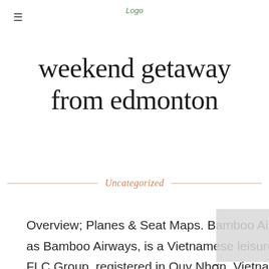Logo
weekend getaway from edmonton
Uncategorized
Overview; Planes & Seat Maps. Bamboo Airways JSC, operating as Bamboo Airways, is a Vietnamese leisure airline owned by the FLC Group, registered in Quy Nhơn, Vietnam, with a head office in Cầu